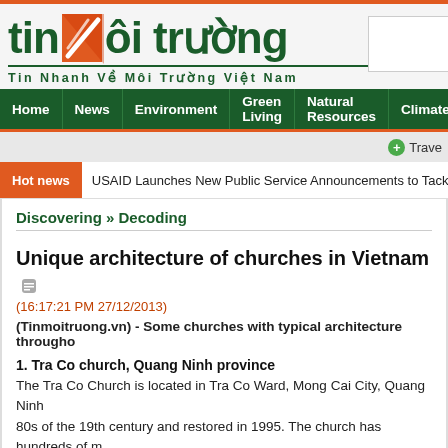[Figure (logo): Tin Moi Truong website logo with orange and green colors, showing 'tin moi truong' text with stylized icon]
Tin Nhanh Về Môi Trường Việt Nam
Home | News | Environment | Green Living | Natural Resources | Climate | Gre...
Travel
Hot news  USAID Launches New Public Service Announcements to Tackle Rhino...
Discovering » Decoding
Unique architecture of churches in Vietnam
(16:17:21 PM 27/12/2013)
(Tinmoitruong.vn) - Some churches with typical architecture throughout...
1. Tra Co church, Quang Ninh province
The Tra Co Church is located in Tra Co Ward, Mong Cai City, Quang Ninh... 80s of the 19th century and restored in 1995. The church has hundreds of m...